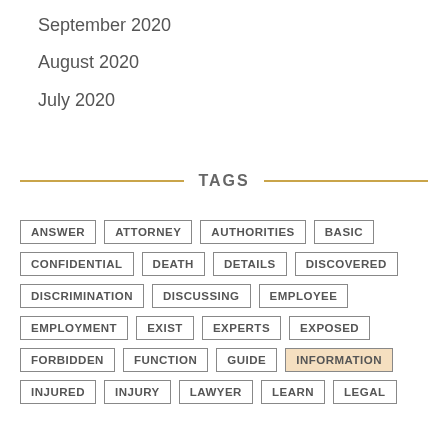September 2020
August 2020
July 2020
TAGS
ANSWER ATTORNEY AUTHORITIES BASIC CONFIDENTIAL DEATH DETAILS DISCOVERED DISCRIMINATION DISCUSSING EMPLOYEE EMPLOYMENT EXIST EXPERTS EXPOSED FORBIDDEN FUNCTION GUIDE INFORMATION INJURED INJURY LAWYER LEARN LEGAL